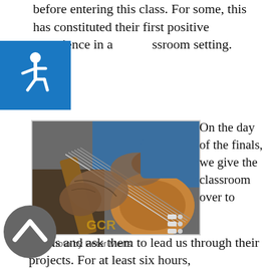before entering this class. For some, this has constituted their first positive experience in a classroom setting.
[Figure (photo): Close-up photograph of tattooed hands playing a classical guitar, wearing a blue shirt, in a correctional facility setting.]
On the day of the finals, we give the classroom over to
photo by Peter Merts
ipants and ask them to lead us through their projects. For at least six hours,